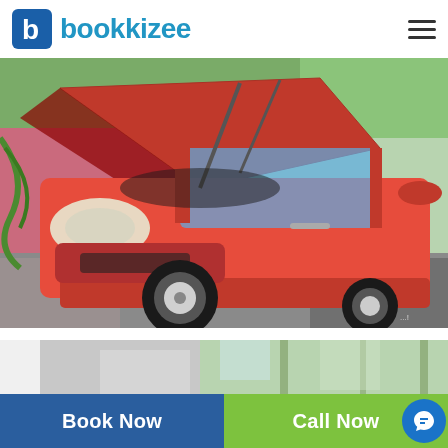[Figure (logo): Bookkizee logo with blue square icon containing letter b and blue text 'bookkizee']
[Figure (photo): Red SUV (Ford EcoSport) with hood open, being serviced outdoors on brick paving, with trees and colorful wall in background]
[Figure (photo): Partial view of another car service scene with trees in background]
Book Now
Call Now